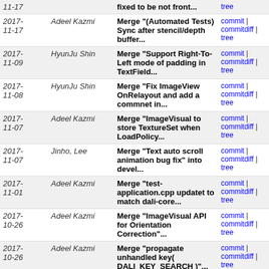| Date | Author | Commit message | Links |
| --- | --- | --- | --- |
| 2017-11-17 |  | fixed to be not front... | commit | commitdiff | tree |
| 2017-11-17 | Adeel Kazmi | Merge "(Automated Tests) Sync after stencil/depth buffer... | commit | commitdiff | tree |
| 2017-11-09 | HyunJu Shin | Merge "Support Right-To-Left mode of padding in TextField... | commit | commitdiff | tree |
| 2017-11-08 | HyunJu Shin | Merge "Fix ImageView OnRelayout and add a commnet in... | commit | commitdiff | tree |
| 2017-11-07 | Adeel Kazmi | Merge "ImageVisual to store TextureSet when LoadPolicy... | commit | commitdiff | tree |
| 2017-11-07 | Jinho, Lee | Merge "Text auto scroll animation bug fix" into devel... | commit | commitdiff | tree |
| 2017-11-01 | Adeel Kazmi | Merge "test-application.cpp updatet to match dali-core... | commit | commitdiff | tree |
| 2017-10-26 | Adeel Kazmi | Merge "ImageVisual API for Orientation Correction"... | commit | commitdiff | tree |
| 2017-10-26 | Adeel Kazmi | Merge "propagate unhandled key( DALI_KEY_SEARCH )"... | commit | commitdiff | tree |
| 2017-10-25 | Heeyong Song | Merge "Support to reset the image in ImageView" into... | commit | commitdiff | tree |
| 2017-10-25 | David Steele | Merge "Soft shadow support in text visual" into devel... | commit | commitdiff | tree |
| 2017-10-19 | Jinho, Lee | Merge "Fixed a problem where text size exceeds maximum... | commit | commitdiff | tree |
| 2017-10-19 | HyunJu Shin | Merge "Fix SVACE issue" into devel/master | commit | commitdiff | tree |
| 2017- | minho.sun | Merge "Fix doc and comment for | commit | commitdiff |